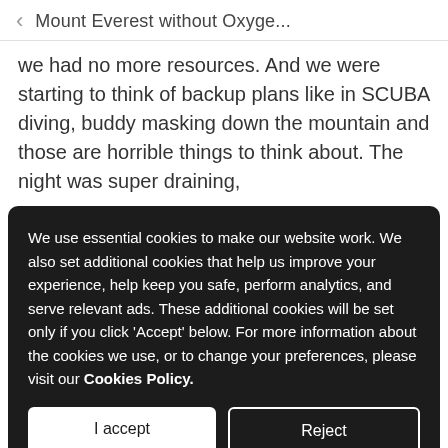Mount Everest without Oxyge...
we had no more resources. And we were starting to think of backup plans like in SCUBA diving, buddy masking down the mountain and those are horrible things to think about. The night was super draining,
We use essential cookies to make our website work. We also set additional cookies that help us improve your experience, help keep you safe, perform analytics, and serve relevant ads. These additional cookies will be set only if you click 'Accept' below. For more information about the cookies we use, or to change your preferences, please visit our Cookies Policy.
company, but we're sitting there listening to this